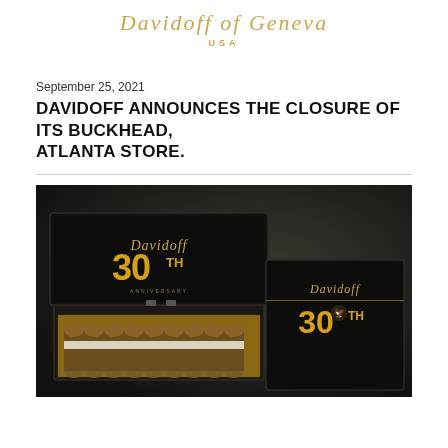Davidoff of Geneva USA
September 25, 2021
DAVIDOFF ANNOUNCES THE CLOSURE OF ITS BUCKHEAD, ATLANTA STORE.
[Figure (photo): Davidoff 30th Anniversary cigar box set — an open black lacquer humidor box displaying rows of cigars with Davidoff branded bands, alongside a closed black box, both featuring the '30TH' anniversary logo in gold on a dark background.]